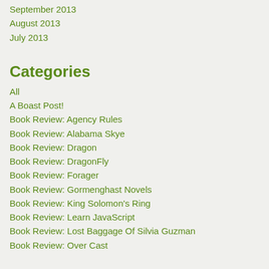September 2013
August 2013
July 2013
Categories
All
A Boast Post!
Book Review: Agency Rules
Book Review: Alabama Skye
Book Review: Dragon
Book Review: DragonFly
Book Review: Forager
Book Review: Gormenghast Novels
Book Review: King Solomon's Ring
Book Review: Learn JavaScript
Book Review: Lost Baggage Of Silvia Guzman
Book Review: Over Cast